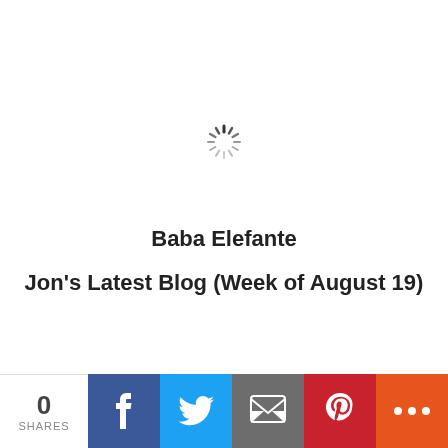[Figure (other): Loading spinner icon (circular dashed spinner)]
Baba Elefante
Jon's Latest Blog (Week of August 19)
0 SHARES | Facebook | Twitter | Email | Pinterest | More